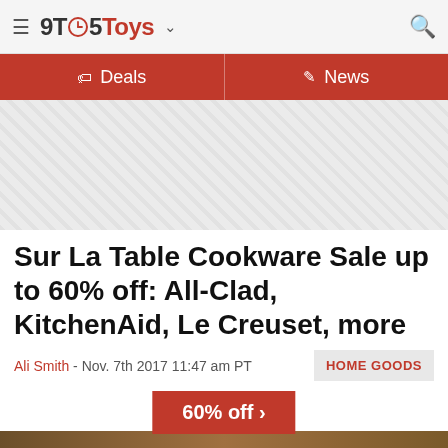9TO5Toys
Deals | News
[Figure (other): Advertisement placeholder area with diagonal stripe pattern]
Sur La Table Cookware Sale up to 60% off: All-Clad, KitchenAid, Le Creuset, more
Ali Smith - Nov. 7th 2017 11:47 am PT
HOME GOODS
60% off >